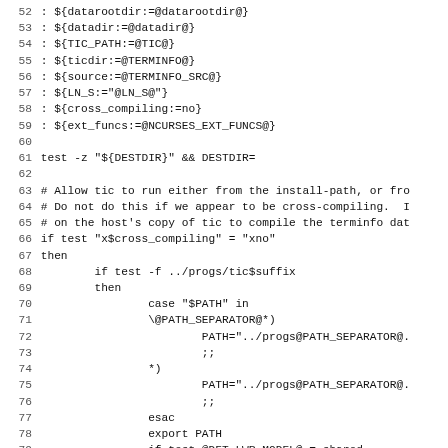[Figure (screenshot): Source code listing showing shell script lines 52-83 with line numbers on the left, monospace font, white background. Contains variable assignments and shell conditional logic for tic path setup.]